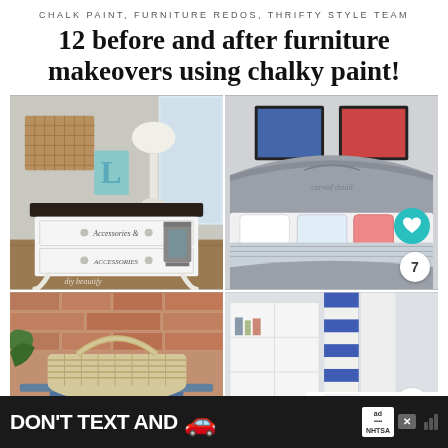CHALK PAINT, FURNITURE REDOS, THRIFTY STYLE TEAM
12 before and after furniture makeovers using chalky paint!
[Figure (photo): White chalk-painted two-drawer dresser with dark top, decorative 'L' letter, lamp, and lantern. Watermark: diy beautify]
[Figure (photo): Gray chalk-painted bed frame headboard and footboard in a bedroom with colorful pillows and framed art. Heart icon badge and number 7 badge visible.]
[Figure (photo): Woven basket on a blue chalk-painted side table, brick wall background with green plant leaf]
[Figure (photo): Room interior with white bookcase and navy/white curtains. 'What's Next' overlay showing '12 Dramatic' text. Share icon badge.]
DON'T TEXT AND
ad NHTSA